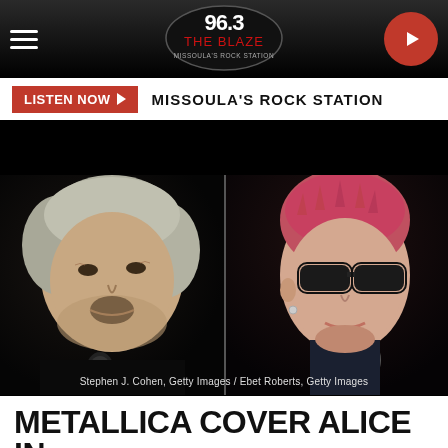[Figure (screenshot): 96.3 The Blaze radio station website header with logo, hamburger menu, play button, and Listen Now bar]
[Figure (photo): Split photo showing two musicians — left: older man with grey hair singing into a microphone; right: person with short pink/red hair wearing dark sunglasses singing into a microphone. Credit: Stephen J. Cohen, Getty Images / Ebet Roberts, Getty Images]
Stephen J. Cohen, Getty Images / Ebet Roberts, Getty Images
METALLICA COVER ALICE IN